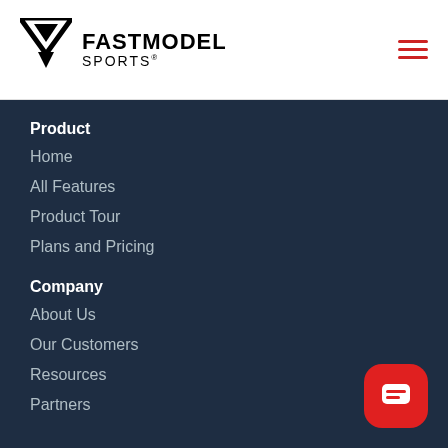[Figure (logo): FastModel Sports logo with triangle/arrow icon and text FASTMODEL SPORTS]
[Figure (other): Red hamburger menu icon with three horizontal lines]
Product
Home
All Features
Product Tour
Plans and Pricing
Company
About Us
Our Customers
Resources
Partners
[Figure (other): Red rounded square chat/messaging button in bottom right corner]